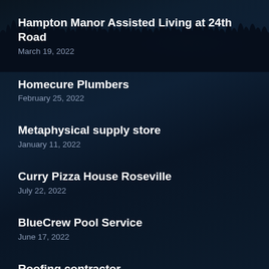Hampton Manor Assisted Living at 24th Road
March 19, 2022
Homecure Plumbers
February 25, 2022
Metaphysical supply store
January 11, 2022
Curry Pizza House Roseville
July 22, 2022
BlueCrew Pool Service
June 17, 2022
Roofing contractor